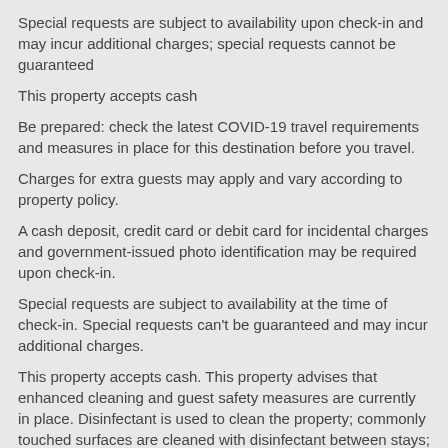Special requests are subject to availability upon check-in and may incur additional charges; special requests cannot be guaranteed
This property accepts cash
Be prepared: check the latest COVID-19 travel requirements and measures in place for this destination before you travel.
Charges for extra guests may apply and vary according to property policy.
A cash deposit, credit card or debit card for incidental charges and government-issued photo identification may be required upon check-in.
Special requests are subject to availability at the time of check-in. Special requests can't be guaranteed and may incur additional charges.
This property accepts cash. This property advises that enhanced cleaning and guest safety measures are currently in place. Disinfectant is used to clean the property; commonly touched surfaces are cleaned with disinfectant between stays; bed sheets and towels are laundered at a temperature of at least 60°C/140°F. Social distancing measures are in place; staff at the property wear personal protective equipment; periodic temperature checks are conducted on staff; temperature checks are available to guests; guests are provided with hand sanitiser.
Staff temperature checks are conducted regularly
Temperature checks are available to guests